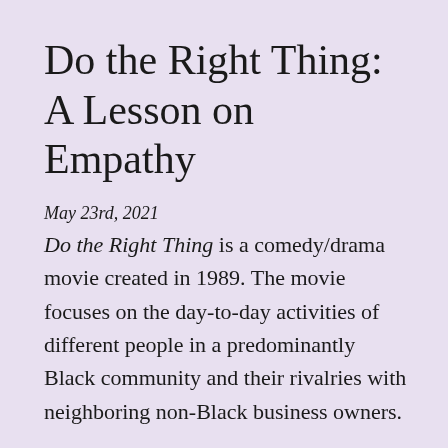Do the Right Thing: A Lesson on Empathy
May 23rd, 2021
Do the Right Thing is a comedy/drama movie created in 1989. The movie focuses on the day-to-day activities of different people in a predominantly Black community and their rivalries with neighboring non-Black business owners.
The main character in the movie, Mookie, is